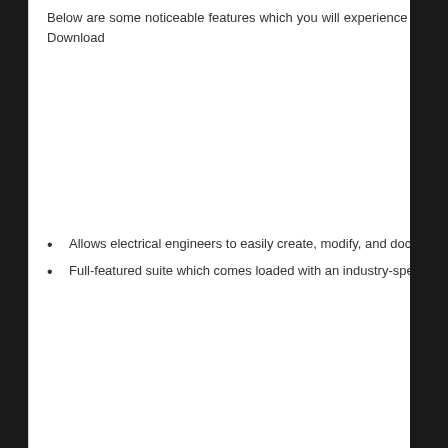Below are some noticeable features which you will experience after Autodesk AutoCAD Electrical 2023 Free Download
[Figure (other): Image placeholder area (appears to be a screenshot or photo of AutoCAD Electrical 2023, not fully visible)]
Allows electrical engineers to easily create, modify, and document electrical controls systems.
Full-featured suite which comes loaded with an industry-specific toolset for